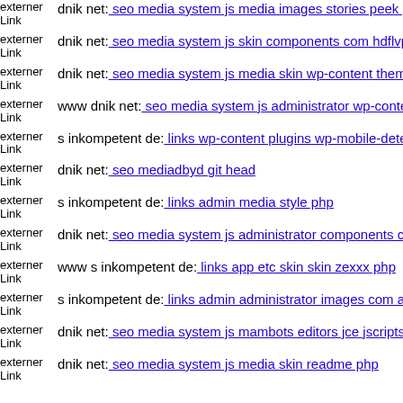externer Link dnik net: seo media system js media images stories peek php
externer Link dnik net: seo media system js skin components com hdflvpl
externer Link dnik net: seo media system js media skin wp-content theme
externer Link www dnik net: seo media system js administrator wp-conte
externer Link s inkompetent de: links wp-content plugins wp-mobile-dete
externer Link dnik net: seo mediadbyd git head
externer Link s inkompetent de: links admin media style php
externer Link dnik net: seo media system js administrator components co
externer Link www s inkompetent de: links app etc skin skin zexxx php
externer Link s inkompetent de: links admin administrator images com ad
externer Link dnik net: seo media system js mambots editors jce jscripts t
externer Link dnik net: seo media system js media skin readme php